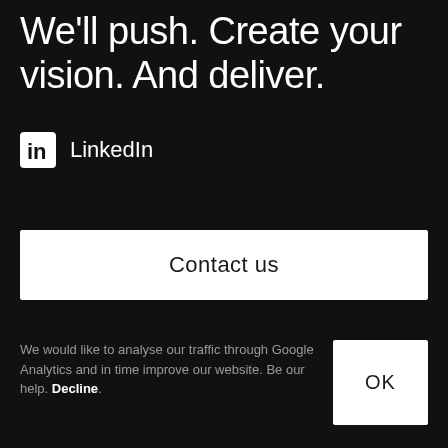We'll push. Create your vision. And deliver.
LinkedIn
Contact us
We would like to analyse our traffic through Google Analytics and in time improve our website. Be our help. Decline.
OK